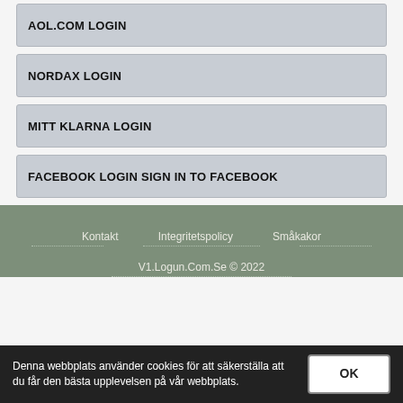AOL.COM LOGIN
NORDAX LOGIN
MITT KLARNA LOGIN
FACEBOOK LOGIN SIGN IN TO FACEBOOK
Kontakt   Integritetspolicy   Småkakor
V1.Logun.Com.Se © 2022
Denna webbplats använder cookies för att säkerställa att du får den bästa upplevelsen på vår webbplats.